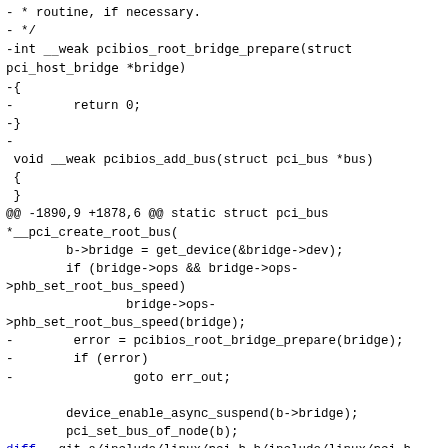- * routine, if necessary.
- */
-int __weak pcibios_root_bridge_prepare(struct pci_host_bridge *bridge)
-{
-        return 0;
-}
-
 void __weak pcibios_add_bus(struct pci_bus *bus)
 {
 }
@@ -1890,9 +1878,6 @@ static struct pci_bus
 *__pci_create_root_bus(
         b->bridge = get_device(&bridge->dev);
         if (bridge->ops && bridge->ops-
>phb_set_root_bus_speed)
                 bridge->ops-
>phb_set_root_bus_speed(bridge);
-        error = pcibios_root_bridge_prepare(bridge);
-        if (error)
-                goto err_out;

         device_enable_async_suspend(b->bridge);
         pci_set_bus_of_node(b);
diff --git a/include/linux/pci.h b/include/linux/pci.h
index ef3a821..3c4413c 100644
--- a/include/linux/pci.h
+++ b/include/linux/pci.h
@@ -423,8 +423,6 @@ struct pci_host_bridge {
 void pci_set_host_bridge_release(struct